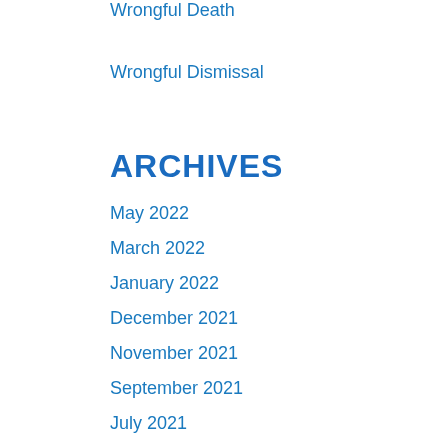Wrongful Death
Wrongful Dismissal
ARCHIVES
May 2022
March 2022
January 2022
December 2021
November 2021
September 2021
July 2021
June 2021
April 2021